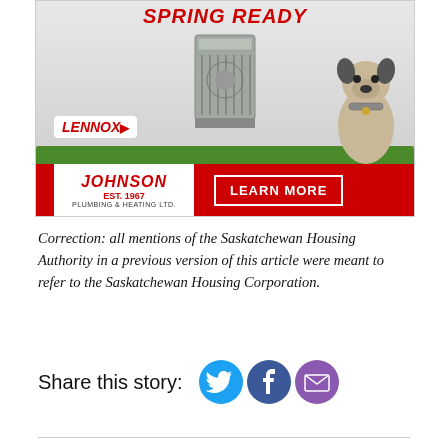[Figure (illustration): Advertisement for Johnson Plumbing & Heating Ltd., featuring a Lennox air conditioning unit on grass with a French bulldog, text 'SPRING READY' in red at top, Lennox and Johnson Est. 1967 logos, and a red 'LEARN MORE' button]
Correction: all mentions of the Saskatchewan Housing Authority in a previous version of this article were meant to refer to the Saskatchewan Housing Corporation.
Share this story: